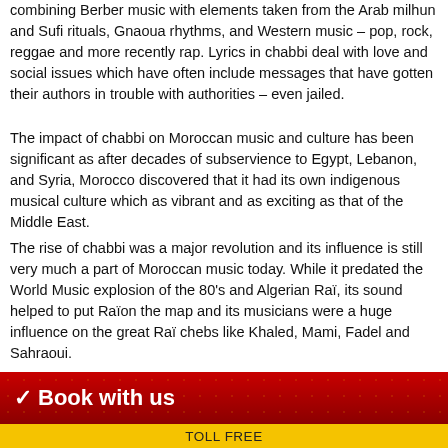combining Berber music with elements taken from the Arab milhun and Sufi rituals, Gnaoua rhythms, and Western music – pop, rock, reggae and more recently rap. Lyrics in chabbi deal with love and social issues which have often include messages that have gotten their authors in trouble with authorities – even jailed.
The impact of chabbi on Moroccan music and culture has been significant as after decades of subservience to Egypt, Lebanon, and Syria, Morocco discovered that it had its own indigenous musical culture which as vibrant and as exciting as that of the Middle East.
The rise of chabbi was a major revolution and its influence is still very much a part of Moroccan music today. While it predated the World Music explosion of the 80's and Algerian Raï, its sound helped to put Raïon the map and its musicians were a huge influence on the great Raï chebs like Khaled, Mami, Fadel and Sahraoui.
Book with us
TOLL FREE
1800-787-8806
MOROCCO
212-618882681